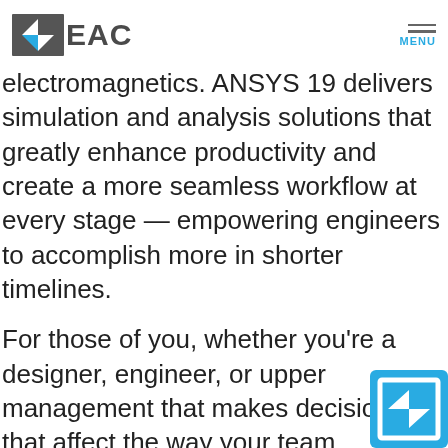[Figure (logo): EAC company logo with dark grey arrow/flag icon and 'EAC' text, plus hamburger menu with 'MENU' label in cyan]
electromagnetics. ANSYS 19 delivers simulation and analysis solutions that greatly enhance productivity and create a more seamless workflow at every stage — empowering engineers to accomplish more in shorter timelines.
For those of you, whether you're a designer, engineer, or upper management that makes decisions that affect the way your team develops products within your company, you'll want take a look at these new features.